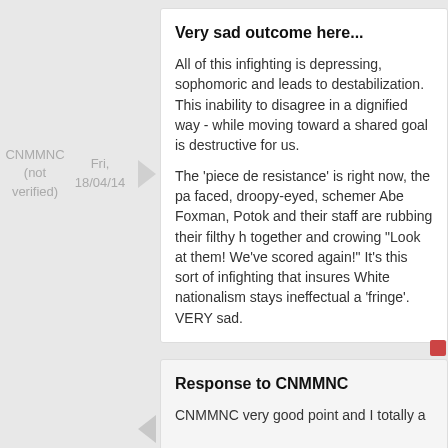Very sad outcome here...
All of this infighting is depressing, sophomoric and leads to destabilization. This inability to disagree in a dignified way - while moving toward a shared goal is destructive for us.
The 'piece de resistance' is right now, the pa faced, droopy-eyed, schemer Abe Foxman, Potok and their staff are rubbing their filthy h together and crowing "Look at them! We've scored again!" It's this sort of infighting that insures White nationalism stays ineffectual a 'fringe'. VERY sad.
CNMMNC (not verified)
Fri, 18/04/14
Response to CNMMNC
CNMMNC very good point and I totally a
It is the price of our individualism that we so passionate about our individual points
Rick (not verified)